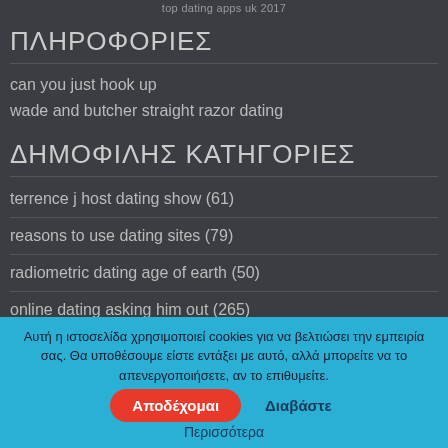top dating apps uk 2017
ΠΛΗΡΟΦΟΡΙΕΣ
can you just hook up
wade and butcher straight razor dating
ΔΗΜΟΦΙΛΗΣ ΚΑΤΗΓΟΡΙΕΣ
terrence j host dating show (61)
reasons to use dating sites (79)
radiometric dating age of earth (50)
online dating asking him out (265)
job speed dating münsterland (176)
Αυτή η ιστοσελίδα χρησιμοποιεί cookies για να βελτιώσει την εμπειρία σας. Θα υποθέσουμε είστε εντάξει με αυτό, αλλά μπορείτε να το απενεργοποιήσετε, αν το επιθυμείτε.
Αποδέχομαι  Διαβάστε  Περισσότερα